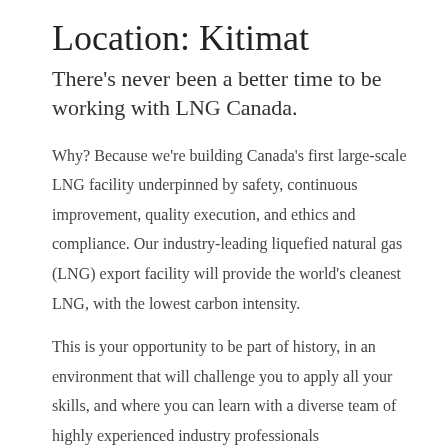Location: Kitimat
There's never been a better time to be working with LNG Canada.
Why? Because we're building Canada's first large-scale LNG facility underpinned by safety, continuous improvement, quality execution, and ethics and compliance. Our industry-leading liquefied natural gas (LNG) export facility will provide the world's cleanest LNG, with the lowest carbon intensity.
This is your opportunity to be part of history, in an environment that will challenge you to apply all your skills, and where you can learn with a diverse team of highly experienced industry professionals